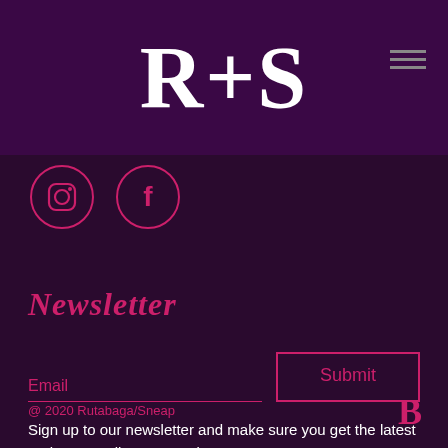R+S
[Figure (logo): R+S logo in white serif font on dark purple header bar, with hamburger menu icon at top right]
[Figure (illustration): Two circular social media icons: Instagram and Facebook, in pink/magenta outline on dark background]
Newsletter
Email
Submit
Sign up to our newsletter and make sure you get the latest updates on all our upcoming events, pop-ups etc. Just enter your mail and hit submit.
@ 2020 Rutabaga/Sneap